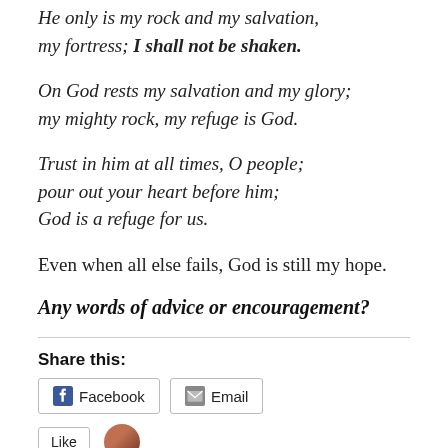He only is my rock and my salvation, my fortress; I shall not be shaken.
On God rests my salvation and my glory; my mighty rock, my refuge is God.
Trust in him at all times, O people; pour out your heart before him; God is a refuge for us.
Even when all else fails, God is still my hope.
Any words of advice or encouragement?
Share this:
Facebook   Email